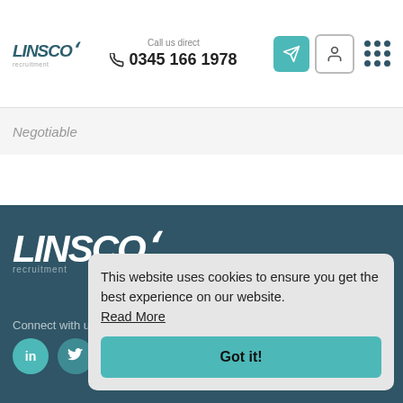LINSCO recruitment | Call us direct 0345 166 1978
Negotiable
[Figure (logo): LINSCO recruitment logo in white on dark teal footer background]
Connect with us
This website uses cookies to ensure you get the best experience on our website. Read More
Got it!